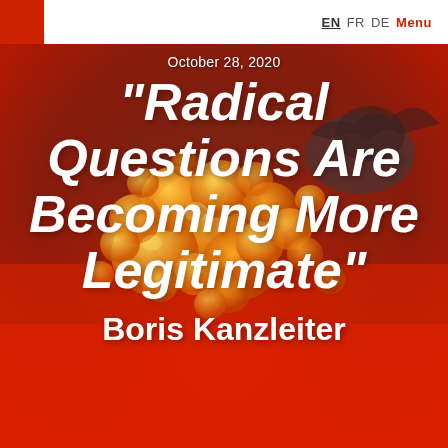EN FR DE Menu
[Figure (photo): Microscopy image of coronavirus (SARS-CoV-2) particles shown as orange/yellow spherical virions against a dark reddish-purple background, transitioning to a red gradient at the bottom.]
October 28, 2020
“Radical Questions Are Becoming More Legitimate”
Boris Kanzleiter